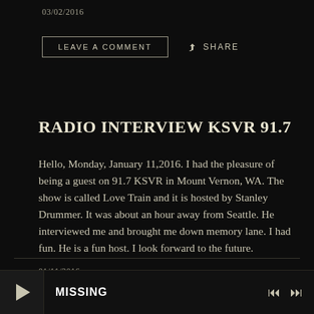03/02/2016
LEAVE A COMMENT   SHARE
RADIO INTERVIEW KSVR 91.7
Hello, Monday, January 11,2016. I had the pleasure of being a guest on 91.7 KSVR in Mount Vernon, WA. The show is called Love Train and it is hosted by Stanley Drummer. It was about an hour away from Seattle. He interviewed me and brought me down memory lane. I had fun. He is a fun host. I look forward to the future.
01/11/2016
LEAVE A COMMENT   SHARE
[Figure (other): Audio player bar showing play button and track title MISSING with skip controls]